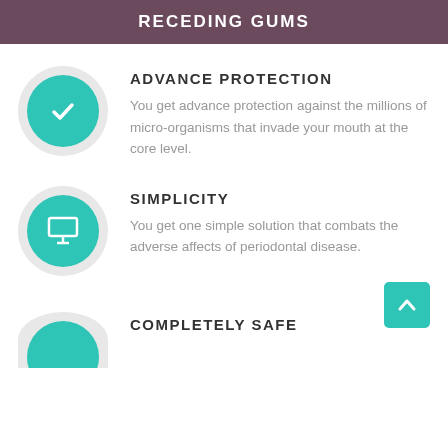RECEDING GUMS
ADVANCE PROTECTION
You get advance protection against the millions of micro-organisms that invade your mouth at the core level.
SIMPLICITY
You get one simple solution that combats the adverse affects of periodontal disease.
COMPLETELY SAFE